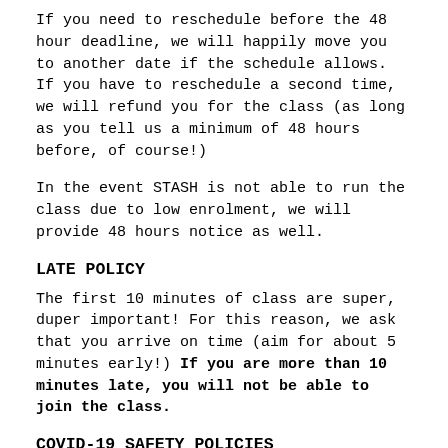If you need to reschedule before the 48 hour deadline, we will happily move you to another date if the schedule allows. If you have to reschedule a second time, we will refund you for the class (as long as you tell us a minimum of 48 hours before, of course!)
In the event STASH is not able to run the class due to low enrolment, we will provide 48 hours notice as well.
LATE POLICY
The first 10 minutes of class are super, duper important! For this reason, we ask that you arrive on time (aim for about 5 minutes early!) If you are more than 10 minutes late, you will not be able to join the class.
COVID-19 SAFETY POLICIES
STASH is committed to providing our staff,